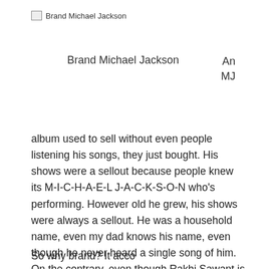Brand Michael Jackson
Brand Michael Jackson   An MJ
album used to sell without even people listening his songs, they just bought. His shows were a sellout because people knew its M-I-C-H-A-E-L J-A-C-K-S-O-N who's performing. However old he grew, his shows were always a sellout. He was a household name, even my dad knows his name, even though he never heard a single song of him. On the contrary, even though Rakhi Sawant is a household name, but is her show watched on each and every person ? Though people like me watched a few of her tv appearances, but did we watch it because of Rakhi? No is the answer, and what's more is that more people switched channels when they saw her on air.
So why brand? It acco...